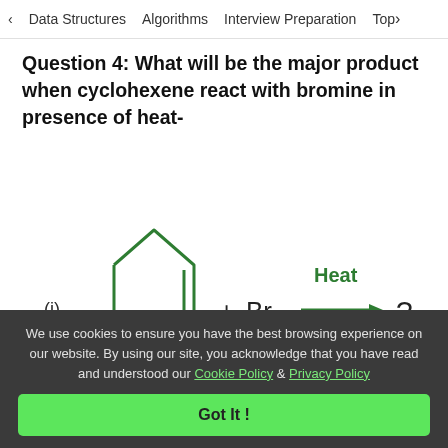< Data Structures   Algorithms   Interview Preparation   Top>
Question 4: What will be the major product when cyclohexene react with bromine in presence of heat-
[Figure (engineering-diagram): Chemical reaction diagram: (i) cyclohexene structure (hexagonal shape with double bond) + Br2 with Heat arrow pointing to ?]
We use cookies to ensure you have the best browsing experience on our website. By using our site, you acknowledge that you have read and understood our Cookie Policy & Privacy Policy
Got It !